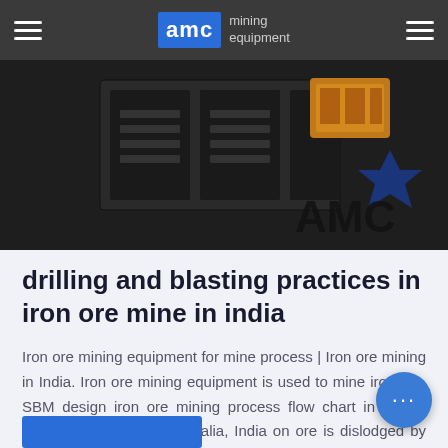AMC mining equipment
[Figure (photo): Mining equipment machinery photo with AMC branding, showing dark industrial crusher/jaw equipment with yellow/orange mechanical parts and blue star logo]
drilling and blasting practices in iron ore mine in india
Iron ore mining equipment for mine process | Iron ore mining in India. Iron ore mining equipment is used to mine iron ore. SBM design iron ore mining process flow chart in China, Brazil, USA, Russia, Australia, India on ore is dislodged by drilling blast holes according to a particular pattern which... depends on the bench height, the hole diameter